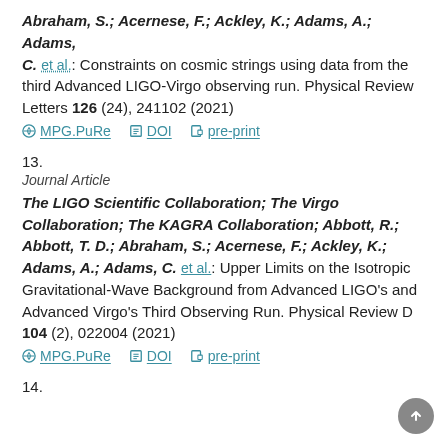Abraham, S.; Acernese, F.; Ackley, K.; Adams, A.; Adams, C. et al.: Constraints on cosmic strings using data from the third Advanced LIGO-Virgo observing run. Physical Review Letters 126 (24), 241102 (2021)
MPG.PuRe   DOI   pre-print
13.
Journal Article
The LIGO Scientific Collaboration; The Virgo Collaboration; The KAGRA Collaboration; Abbott, R.; Abbott, T. D.; Abraham, S.; Acernese, F.; Ackley, K.; Adams, A.; Adams, C. et al.: Upper Limits on the Isotropic Gravitational-Wave Background from Advanced LIGO's and Advanced Virgo's Third Observing Run. Physical Review D 104 (2), 022004 (2021)
MPG.PuRe   DOI   pre-print
14.